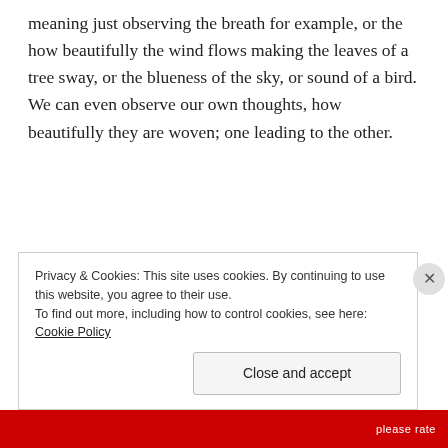meaning just observing the breath for example, or the how beautifully the wind flows making the leaves of a tree sway, or the blueness of the sky, or sound of a bird. We can even observe our own thoughts, how beautifully they are woven; one leading to the other.
Privacy & Cookies: This site uses cookies. By continuing to use this website, you agree to their use.
To find out more, including how to control cookies, see here: Cookie Policy
Close and accept
please rate